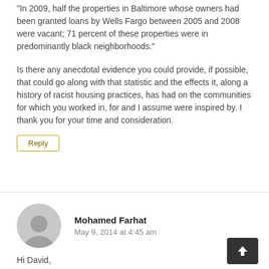“In 2009, half the properties in Baltimore whose owners had been granted loans by Wells Fargo between 2005 and 2008 were vacant; 71 percent of these properties were in predominantly black neighborhoods.”
Is there any anecdotal evidence you could provide, if possible, that could go along with that statistic and the effects it, along a history of racist housing practices, has had on the communities for which you worked in, for and I assume were inspired by. I thank you for your time and consideration.
Reply
Mohamed Farhat
May 9, 2014 at 4:45 am
Hi David,